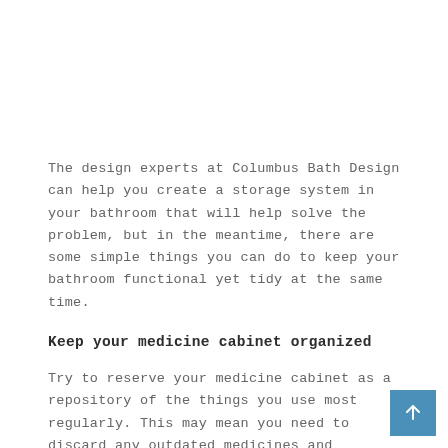The design experts at Columbus Bath Design can help you create a storage system in your bathroom that will help solve the problem, but in the meantime, there are some simple things you can do to keep your bathroom functional yet tidy at the same time.
Keep your medicine cabinet organized
Try to reserve your medicine cabinet as a repository of the things you use most regularly. This may mean you need to discard any outdated medicines and relocate backup products to another spot. Despite its name, the medicine cabinet is better used to store